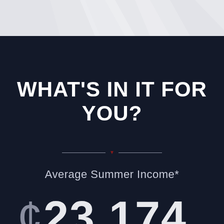[Figure (illustration): Top banner with light gray background and subtle geometric/crystal shapes in white/light tones]
WHAT'S IN IT FOR YOU?
Average Summer Income*
$23,174